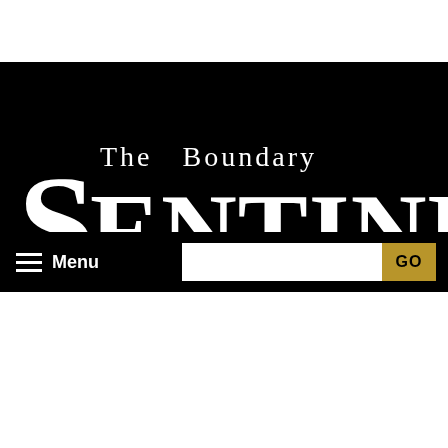[Figure (logo): The Boundary Sentinel newspaper masthead logo: large serif text on a black background. 'The Boundary' appears in smaller text above the large word 'SENTINEL' with oversized capital S and L at the ends.]
Menu  GO